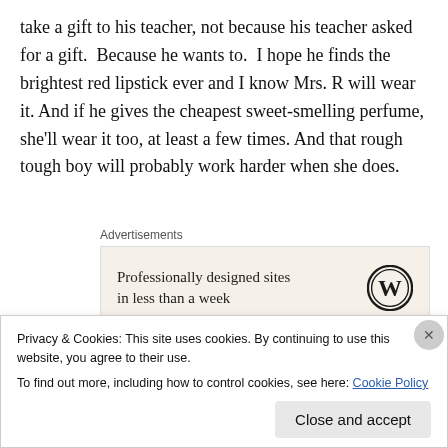take a gift to his teacher, not because his teacher asked for a gift.  Because he wants to.  I hope he finds the brightest red lipstick ever and I know Mrs. R will wear it. And if he gives the cheapest sweet-smelling perfume, she'll wear it too, at least a few times. And that rough tough boy will probably work harder when she does.
Advertisements
[Figure (other): WordPress advertisement banner: 'Professionally designed sites in less than a week' with WordPress logo]
Mrs. R's story took me back to my classroom
Privacy & Cookies: This site uses cookies. By continuing to use this website, you agree to their use.
To find out more, including how to control cookies, see here: Cookie Policy